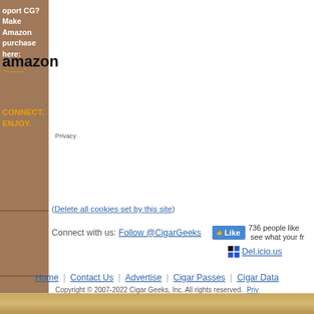port CG? Make
azon purchase
here:
[Figure (logo): Amazon logo with smile]
CONNECT.
ENJOY.
Privacy
(Delete all cookies set by this site)
Connect with us: Follow @CigarGeeks   736 people like  see what your fr
[Figure (logo): Del.icio.us bookmark icon]
Del.icio.us
Home | Contact Us | Advertise | Cigar Passes | Cigar Data
Copyright © 2007-2022 Cigar Geeks, Inc. All rights reserved.  Priv